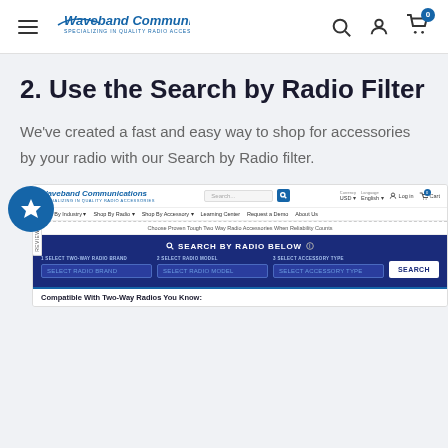Waveband Communications — SPECIALIZING IN QUALITY RADIO ACCESSORIES
2. Use the Search by Radio Filter
We've created a fast and easy way to shop for accessories by your radio with our Search by Radio filter.
[Figure (screenshot): Screenshot of Waveband Communications website showing the Search by Radio Below filter with three dropdown selectors: 1. Select Two-Way Radio Brand, 2. Select Radio Model, 3. Select Accessory Type, and a Search button. Navigation bar with Shop By Industry, Shop By Radio, Shop By Accessory, Learning Center, Request a Demo, About Us menus visible.]
Compatible With Two-Way Radios You Know: